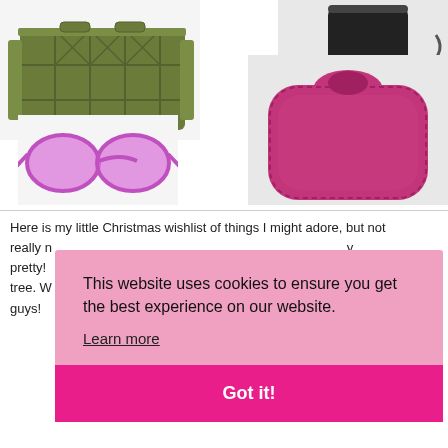[Figure (photo): Collage of four products: a green folding storage crate (top left), pink round sunglasses (bottom left), a black lamp/speaker (top right), and a pink felt hot water bottle cover (bottom right).]
Here is my little Christmas wishlist of things I might adore, but not really need... [text partially obscured] pretty! [text partially obscured] tree. W[text partially obscured] guys!
This website uses cookies to ensure you get the best experience on our website. Learn more Got it!